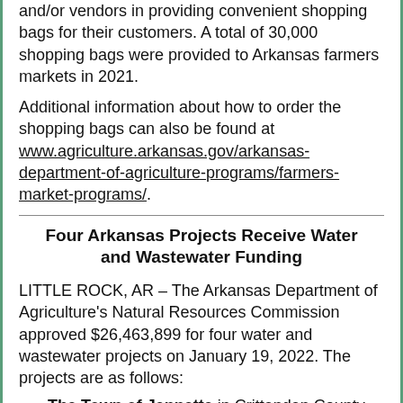and/or vendors in providing convenient shopping bags for their customers. A total of 30,000 shopping bags were provided to Arkansas farmers markets in 2021.
Additional information about how to order the shopping bags can also be found at www.agriculture.arkansas.gov/arkansas-department-of-agriculture-programs/farmers-market-programs/.
Four Arkansas Projects Receive Water and Wastewater Funding
LITTLE ROCK, AR – The Arkansas Department of Agriculture's Natural Resources Commission approved $26,463,899 for four water and wastewater projects on January 19, 2022. The projects are as follows:
The Town of Jennette in Crittenden County received a $103,000 loan and a $100,000 grant from the Water, Sewer, and Solid Waste Fund to make improvements to the wastewater system pump station. The project currently serves 46 customers.